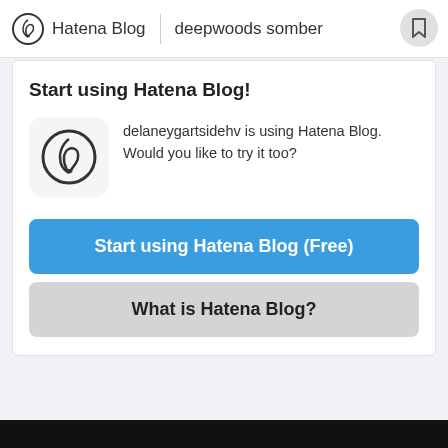Hatena Blog | deepwoods somber
Start using Hatena Blog!
delaneygartsidehv is using Hatena Blog. Would you like to try it too?
Start using Hatena Blog (Free)
What is Hatena Blog?